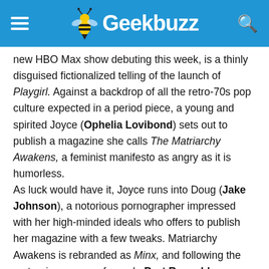Geekbuzz
new HBO Max show debuting this week, is a thinly disguised fictionalized telling of the launch of Playgirl. Against a backdrop of all the retro-70s pop culture expected in a period piece, a young and spirited Joyce (Ophelia Lovibond) sets out to publish a magazine she calls The Matriarchy Awakens, a feminist manifesto as angry as it is humorless.
As luck would have it, Joyce runs into Doug (Jake Johnson), a notorious pornographer impressed with her high-minded ideals who offers to publish her magazine with a few tweaks. Matriarchy Awakens is rebranded as Minx, and following the meteoric success of a nude Burt Reynolds on a bearskin rug in Cosmo, Doug suggests the new magazine feature a monthly male centerfold in all